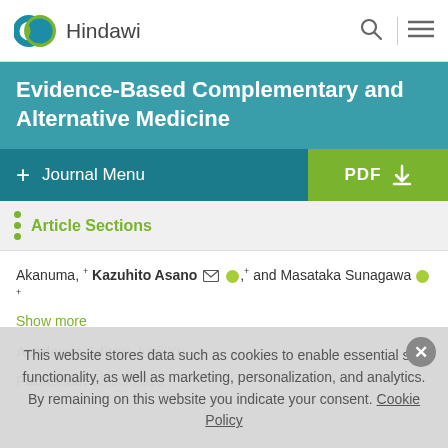Hindawi
Evidence-Based Complementary and Alternative Medicine
+ Journal Menu
Article Sections
Akanuma, Kazuhito Asano and Masataka Sunagawa
Show more
Academic Editor: Junji Xu
Published: 05 Jul 2018
This website stores data such as cookies to enable essential site functionality, as well as marketing, personalization, and analytics. By remaining on this website you indicate your consent. Cookie Policy